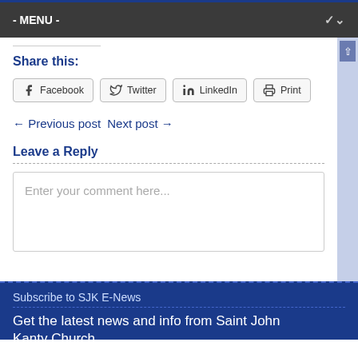- MENU -
Share this:
Facebook  Twitter  LinkedIn  Print
← Previous post  Next post →
Leave a Reply
Enter your comment here...
Subscribe to SJK E-News
Get the latest news and info from Saint John Kanty Church